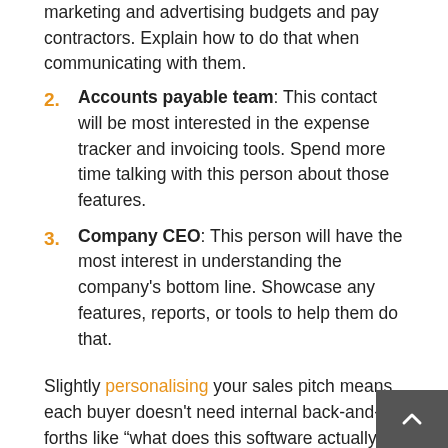marketing and advertising budgets and pay contractors. Explain how to do that when communicating with them.
2. Accounts payable team: This contact will be most interested in the expense tracker and invoicing tools. Spend more time talking with this person about those features.
3. Company CEO: This person will have the most interest in understanding the company's bottom line. Showcase any features, reports, or tools to help them do that.
Slightly personalising your sales pitch means each buyer doesn't need internal back-and-forths like “what does this software actually do?”